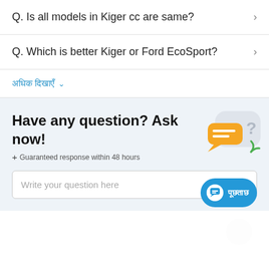Q. Is all models in Kiger cc are same?
Q. Which is better Kiger or Ford EcoSport?
अधिक दिखाएँ ∨
Have any question? Ask now!
+ Guaranteed response within 48 hours
Write your question here